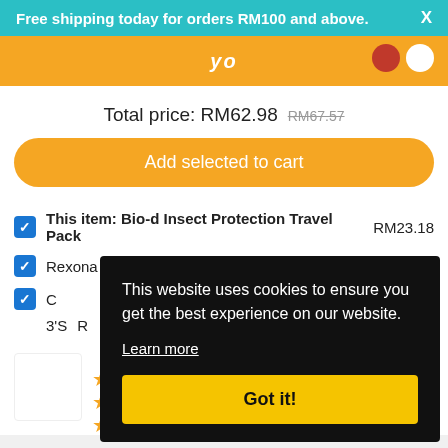Free shipping today for orders RM100 and above.   X
Total price: RM62.98  RM67.57
Add selected to cart
✓ This item: Bio-d Insect Protection Travel Pack  RM23.18
✓ Rexona Men Ice Cool 2x150ml  RM23.30  RM26.40
✓ C...
3'S  R...
[Figure (other): Product thumbnail and star ratings]
This website uses cookies to ensure you get the best experience on our website.
Learn more
Got it!